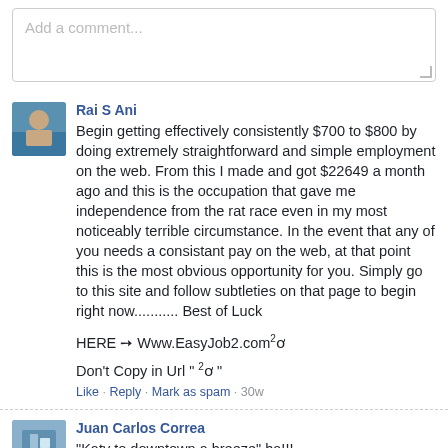Add a comment...
Rai S Ani
Begin getting effectively consistently $700 to $800 by doing extremely straightforward and simple employment on the web. From this I made and got $22649 a month ago and this is the occupation that gave me independence from the rat race even in my most noticeably terrible circumstance. In the event that any of you needs a consistant pay on the web, at that point this is the most obvious opportunity for you. Simply go to this site and follow subtleties on that page to begin right now........... Best of Luck
HERE ➙ Www.EasyJob2.com²ơ
Don't Copy in Url " ²ơ "
Like · Reply · Mark as spam · 30w
Juan Carlos Correa
"Katy to downtown a breeze" ha!!!
Like · Reply · Mark as spam · 39w